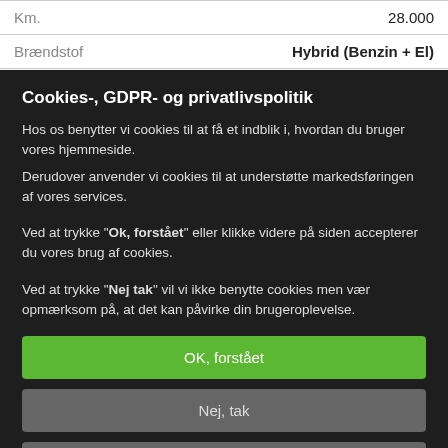| Km. | 28.000 |
| Brændstof | Hybrid (Benzin + El) |
Cookies-, GDPR- og privatlivspolitik
Hos os benytter vi cookies til at få et indblik i, hvordan du bruger vores hjemmeside.
Derudover anvender vi cookies til at understøtte markedsføringen af vores services.
Ved at trykke "Ok, forstået" eller klikke videre på siden accepterer du vores brug af cookies.
Ved at trykke "Nej tak" vil vi ikke benytte cookies men vær opmærksom på, at det kan påvirke din brugeroplevelse.
OK, forstået
Nej, tak
Læs mere